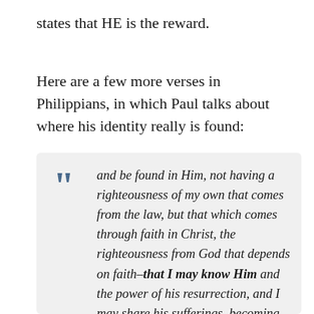states that HE is the reward.
Here are a few more verses in Philippians, in which Paul talks about where his identity really is found:
and be found in Him, not having a righteousness of my own that comes from the law, but that which comes through faith in Christ, the righteousness from God that depends on faith–that I may know Him and the power of his resurrection, and I may share his sufferings, becoming like Him in his death, that by any means possible I may attain the